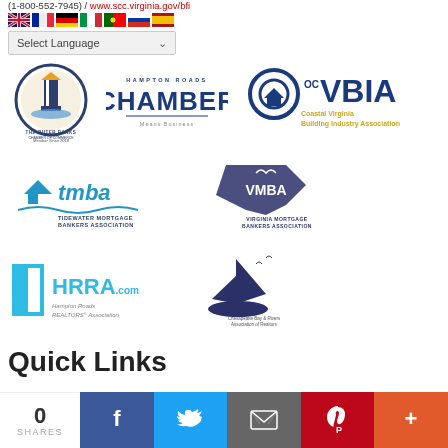(1-800-552-7945) / www.scc.virginia.gov/bfi
[Figure (illustration): Row of country flag icons (UK, France, Germany, Italy, Portugal, Russia, Spain)]
[Figure (other): Select Language dropdown widget]
[Figure (logo): Outer Banks Chamber of Commerce – Member Since 2018 logo]
[Figure (logo): Hampton Roads Chamber – Means Business logo]
[Figure (logo): CVBIA – Coastal Virginia Building Industry Association logo]
[Figure (logo): TMBA – Tidewater Mortgage Bankers Association logo]
[Figure (logo): VMBA – Virginia Mortgage Bankers Association logo]
[Figure (logo): HRRA.com – Hampton Roads REALTORS Association logo]
[Figure (logo): Chesapeake Bay & Rivers Association of Realtors logo]
Quick Links
[Figure (other): Social sharing bar: 0 SHARES, Facebook, Twitter, Email, Pinterest, More buttons]